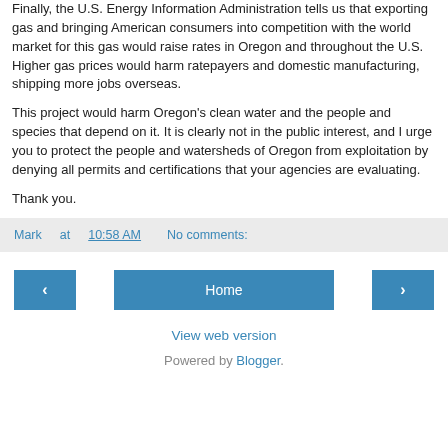Finally, the U.S. Energy Information Administration tells us that exporting gas and bringing American consumers into competition with the world market for this gas would raise rates in Oregon and throughout the U.S. Higher gas prices would harm ratepayers and domestic manufacturing, shipping more jobs overseas.
This project would harm Oregon's clean water and the people and species that depend on it. It is clearly not in the public interest, and I urge you to protect the people and watersheds of Oregon from exploitation by denying all permits and certifications that your agencies are evaluating.
Thank you.
Mark at 10:58 AM   No comments:
◄   Home   ►
View web version
Powered by Blogger.